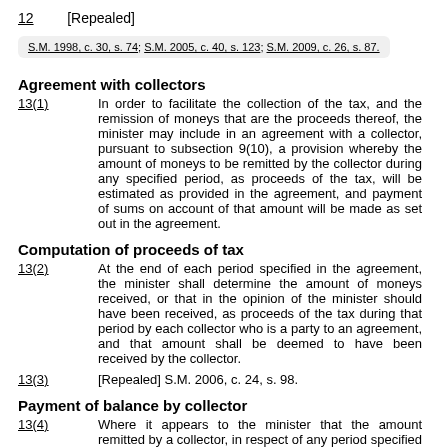12   [Repealed]
S.M. 1998, c. 30, s. 74; S.M. 2005, c. 40, s. 123; S.M. 2009, c. 26, s. 87.
Agreement with collectors
13(1)   In order to facilitate the collection of the tax, and the remission of moneys that are the proceeds thereof, the minister may include in an agreement with a collector, pursuant to subsection 9(10), a provision whereby the amount of moneys to be remitted by the collector during any specified period, as proceeds of the tax, will be estimated as provided in the agreement, and payment of sums on account of that amount will be made as set out in the agreement.
Computation of proceeds of tax
13(2)   At the end of each period specified in the agreement, the minister shall determine the amount of moneys received, or that in the opinion of the minister should have been received, as proceeds of the tax during that period by each collector who is a party to an agreement, and that amount shall be deemed to have been received by the collector.
13(3)   [Repealed] S.M. 2006, c. 24, s. 98.
Payment of balance by collector
13(4)   Where it appears to the minister that the amount remitted by a collector, in respect of any period specified in the agreement, is less than the amount required to be remitted by the collector for that period,